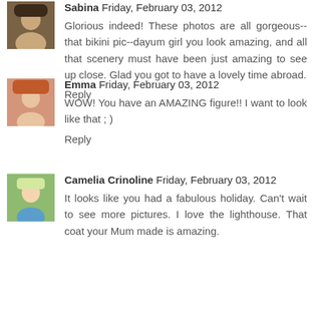Sabina  Friday, February 03, 2012
Glorious indeed! These photos are all gorgeous--that bikini pic--dayum girl you look amazing, and all that scenery must have been just amazing to see up close. Glad you got to have a lovely time abroad.
Reply
Emma  Friday, February 03, 2012
WOW! You have an AMAZING figure!! I want to look like that ; )
Reply
Camelia Crinoline  Friday, February 03, 2012
It looks like you had a fabulous holiday. Can't wait to see more pictures. I love the lighthouse. That coat your Mum made is amazing.